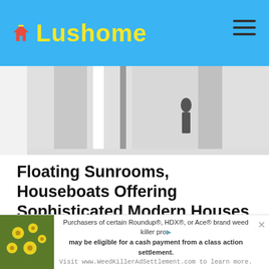Lushome
[Figure (photo): Partial view of a modern interior or architectural scene, cropped near top]
Floating Sunrooms, Houseboats Offering Sophisticated Modern Houses
[Figure (photo): Modern white houseboat on water near rocky shore, surrounded by trees]
Unique houseboats are dream homes for many people. Beautiful and romantic, luxury houseboats offer eco friendly lifestyle, modern architectural designs, luxurious...
[Figure (photo): Advertisement banner — yellow flowers foliage on left side]
Purchasers of certain Roundup®, HDX®, or Ace® brand weed killer products may be eligible for a cash payment from a class action settlement. Visit www.WeedKillerAdSettlement.com to learn more.